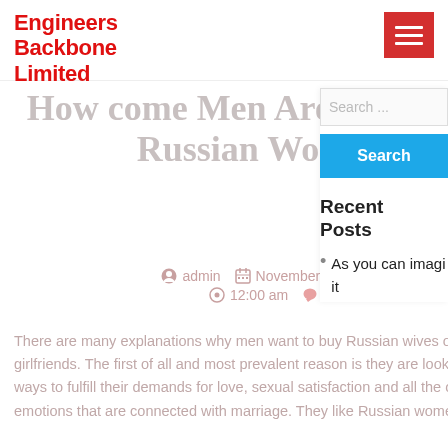Engineers Backbone Limited
How come Men Are Purchasing Russian Women?
admin   November 18, 2020   12:00 am   0
There are many explanations why men want to buy Russian wives or girlfriends. The first of all and most prevalent reason is they are looking for ways to fulfill their demands for love, sexual satisfaction and all the other emotions that are connected with marriage. They like Russian women...
Search ...
Recent Posts
As you can imagi it